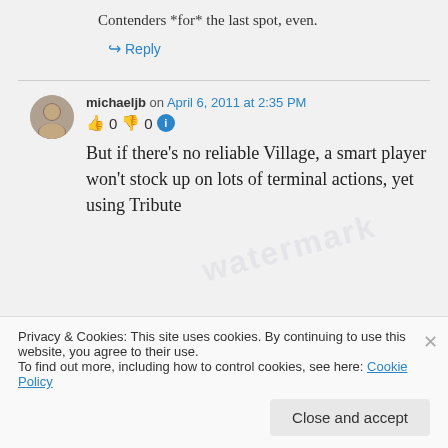Contenders *for* the last spot, even.
↪ Reply
michaeljb on April 6, 2011 at 2:35 PM
👍 0 👎 0 ℹ
But if there's no reliable Village, a smart player won't stock up on lots of terminal actions, yet using Tribute
Privacy & Cookies: This site uses cookies. By continuing to use this website, you agree to their use.
To find out more, including how to control cookies, see here: Cookie Policy
Close and accept